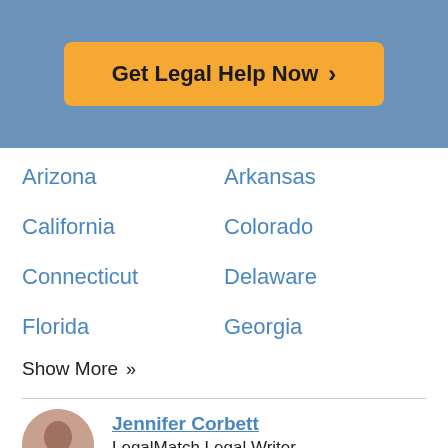[Figure (other): Orange 'Get Legal Help Now >' call-to-action button on a blue background]
Arizona
Arkansas
California
Colorado
Connecticut
Delaware
Florida
Georgia
Show More »
Jennifer Corbett
LegalMatch Legal Writer
Updating Author
Ken LaMance
Senior Editor